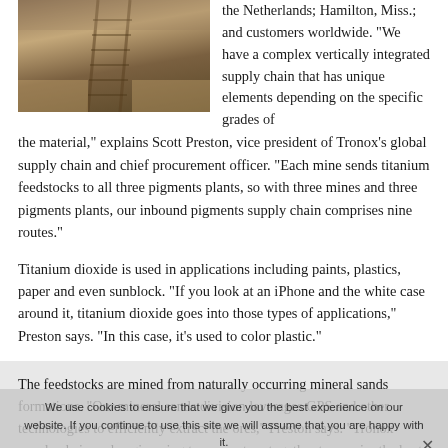[Figure (photo): Aerial or ground-level photo of railroad tracks with sandy/earthy terrain, likely a mining or industrial area.]
the Netherlands; Hamilton, Miss.; and customers worldwide. “We have a complex vertically integrated supply chain that has unique elements depending on the specific grades of the material,” explains Scott Preston, vice president of Tronox’s global supply chain and chief procurement officer. “Each mine sends titanium feedstocks to all three pigments plants, so with three mines and three pigments plants, our inbound pigments supply chain comprises nine routes.”
Titanium dioxide is used in applications including paints, plastics, paper and even sunblock. “If you look at an iPhone and the white case around it, titanium dioxide goes into those types of applications,” Preston says. “In this case, it’s used to color plastic.”
The feedstocks are mined from naturally occurring mineral sands formations. “Our mineral sands division leverages GPS and other technologies to efficiently extract the ores,” Preston says. “Tronox supply chain and engineering teams partner together to acquire the best equipment to meet these needs. We then transport them on third-party trucks or rail hopper cars to separation plants to